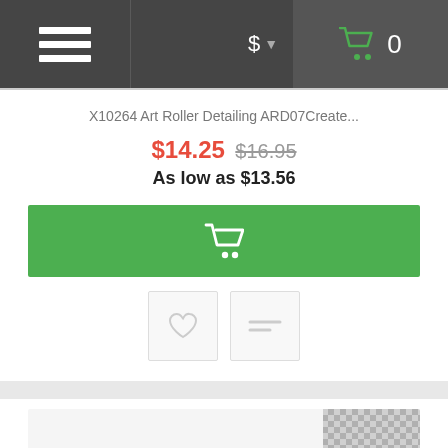Navigation bar with menu, currency selector, and cart
X10264 Art Roller Detailing ARD07Create...
$14.25 $16.95
As low as $13.56
[Figure (screenshot): Green add-to-cart button with shopping cart icon]
[Figure (screenshot): Wishlist (heart) and compare (equals) action buttons]
[Figure (photo): Product photo showing orange roller and textured gray surface]